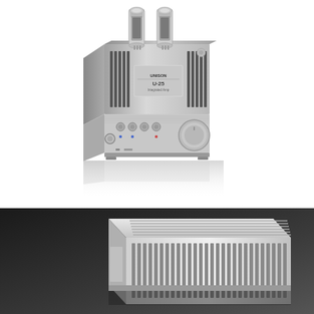[Figure (photo): Silver tube amplifier with two vacuum tubes protruding from the top, ventilation grilles on the upper chassis, control knobs and selector buttons on the front panel, a large volume knob on the right side, and a headphone jack on the front. The unit sits on a reflective surface showing its mirror reflection below.]
[Figure (photo): Close-up angled view of a silver/white audio amplifier chassis showing ventilation slots/grilles on the top and sides, photographed against a dark gray background.]